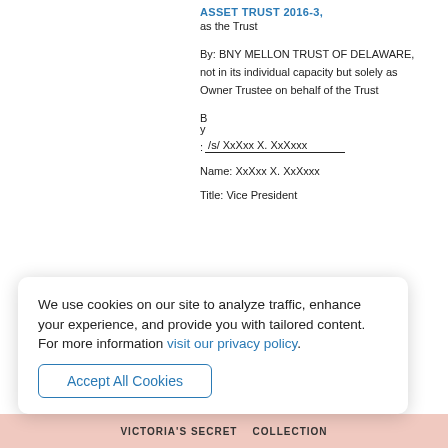ASSET TRUST 2016-3,
as the Trust
By: BNY MELLON TRUST OF DELAWARE, not in its individual capacity but solely as Owner Trustee on behalf of the Trust
By: /s/ XxXxx X. XxXxxx
Name: XxXxx X. XxXxxx
Title: Vice President
We use cookies on our site to analyze traffic, enhance your experience, and provide you with tailored content.
For more information visit our privacy policy.
Accept All Cookies